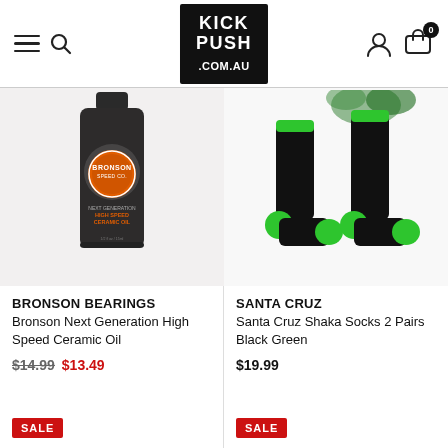KICK PUSH .COM.AU — navigation header
[Figure (photo): Bronson Bearings Next Generation High Speed Ceramic Oil bottle]
BRONSON BEARINGS
Bronson Next Generation High Speed Ceramic Oil
$14.99  $13.49
SALE
[Figure (photo): Santa Cruz Shaka Socks 2 Pairs Black Green — socks with green toe and heel accents]
SANTA CRUZ
Santa Cruz Shaka Socks 2 Pairs Black Green
$19.99
SALE